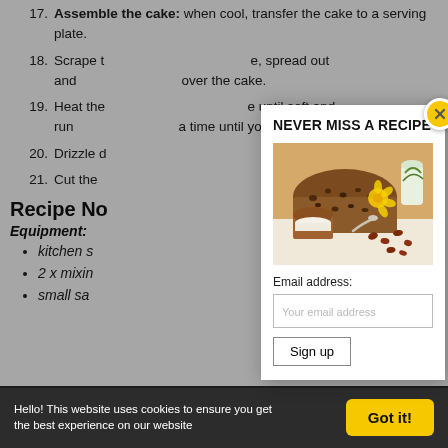17. Assemble the cake: when cool, transfer the cake to a serving plate.
18. Scrape the [obscured], spread out and [obscured] over the cake.
19. Heat the [obscured] until soft and run [obscured] a time until you get [obscured].
20. Drizzle [obscured] to set.
21. Cut the [obscured].
Recipe No
Equipment:
kitchen s
2 x mixin
small sa
[Figure (screenshot): Newsletter signup modal overlay with title 'NEVER MISS A RECIPE', photo of sliced cake/bread loaf with raisins, email address input field, and Sign up button. Close button (X) in yellow circle at top right.]
Hello! This website uses cookies to ensure you get the best experience on our website
Got it!